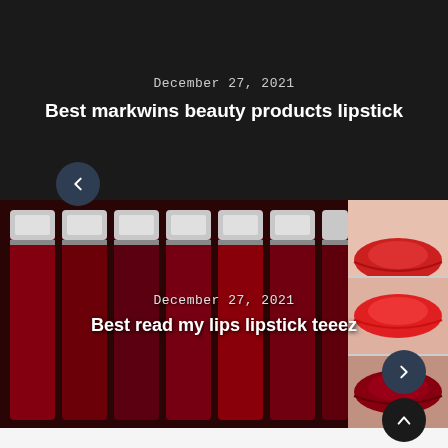December 27, 2021
Best markwins beauty products lipstick
[Figure (photo): Product photo of multiple CmaDu Liquid Matte Lipstick tubes in dark red/burgundy shades arranged vertically, alongside a close-up image of lips with red lipstick in three shade variants]
December 27, 2021
Best read my lips lipstick teeez